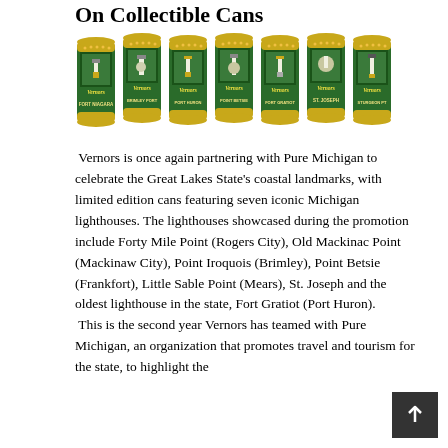On Collectible Cans
[Figure (illustration): Seven Vernors collectible cans featuring Michigan lighthouse designs: Fort Niagara, Ste Genevieve Port, Port Huron, Point Betsie, Fort Gratiot, St. Joseph, and Sturgeon Point]
Vernors is once again partnering with Pure Michigan to celebrate the Great Lakes State's coastal landmarks, with limited edition cans featuring seven iconic Michigan lighthouses. The lighthouses showcased during the promotion include Forty Mile Point (Rogers City), Old Mackinac Point (Mackinaw City), Point Iroquois (Brimley), Point Betsie (Frankfort), Little Sable Point (Mears), St. Joseph and the oldest lighthouse in the state, Fort Gratiot (Port Huron). This is the second year Vernors has teamed with Pure Michigan, an organization that promotes travel and tourism for the state, to highlight the